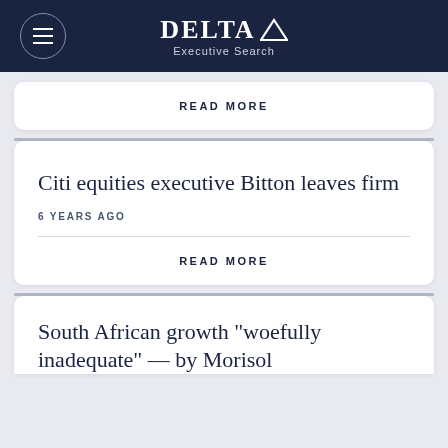Delta Executive Search
READ MORE
Citi equities executive Bitton leaves firm
6 YEARS AGO
READ MORE
South African growth "woefully inadequate" — by Morisol